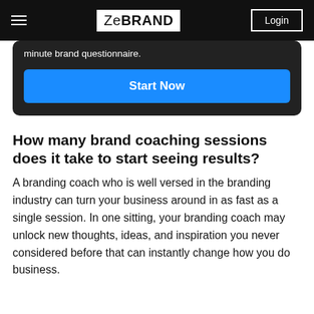ZeBRAND | Login
minute brand questionnaire.
Start Now
How many brand coaching sessions does it take to start seeing results?
A branding coach who is well versed in the branding industry can turn your business around in as fast as a single session. In one sitting, your branding coach may unlock new thoughts, ideas, and inspiration you never considered before that can instantly change how you do business.